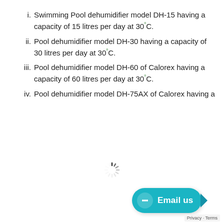i. Swimming Pool dehumidifier model DH-15 having a capacity of 15 litres per day at 30°C.
ii. Pool dehumidifier model DH-30 having a capacity of 30 litres per day at 30°C.
iii. Pool dehumidifier model DH-60 of Calorex having a capacity of 60 litres per day at 30°C.
iv. Pool dehumidifier model DH-75AX of Calorex having a
[Figure (other): Loading spinner / activity indicator in the center of the page]
[Figure (other): Email us chat button with teal background and arrow, bottom right corner]
Privacy · Terms